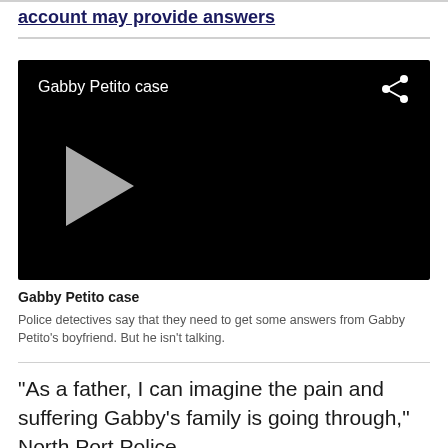account may provide answers
[Figure (screenshot): Black video player with title 'Gabby Petito case', a share icon in the top right, and a gray play button at the bottom left]
Gabby Petito case
Police detectives say that they need to get some answers from Gabby Petito's boyfriend. But he isn't talking.
"As a father, I can imagine the pain and suffering Gabby's family is going through," North Port Police